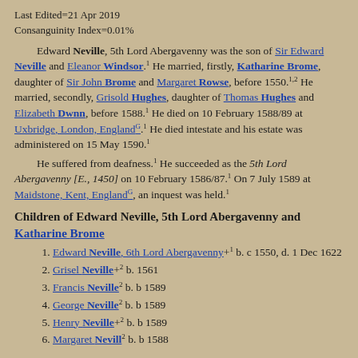Last Edited=21 Apr 2019
Consanguinity Index=0.01%
Edward Neville, 5th Lord Abergavenny was the son of Sir Edward Neville and Eleanor Windsor.1 He married, firstly, Katharine Brome, daughter of Sir John Brome and Margaret Rowse, before 1550.1,2 He married, secondly, Grisold Hughes, daughter of Thomas Hughes and Elizabeth Dwnn, before 1588.1 He died on 10 February 1588/89 at Uxbridge, London, EnglandG.1 He died intestate and his estate was administered on 15 May 1590.1
He suffered from deafness.1 He succeeded as the 5th Lord Abergavenny [E., 1450] on 10 February 1586/87.1 On 7 July 1589 at Maidstone, Kent, EnglandG, an inquest was held.1
Children of Edward Neville, 5th Lord Abergavenny and Katharine Brome
Edward Neville, 6th Lord Abergavenny+1 b. c 1550, d. 1 Dec 1622
Grisel Neville+2 b. 1561
Francis Neville2 b. b 1589
George Neville2 b. b 1589
Henry Neville+2 b. b 1589
Margaret Neville2 b. b 1588